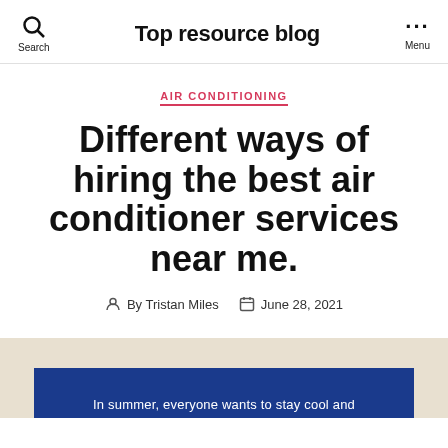Top resource blog
AIR CONDITIONING
Different ways of hiring the best air conditioner services near me.
By Tristan Miles  June 28, 2021
In summer, everyone wants to stay cool and